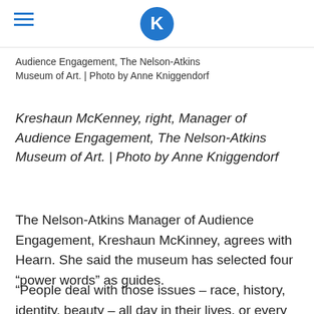K (logo)
Audience Engagement, The Nelson-Atkins Museum of Art. | Photo by Anne Kniggendorf
Kreshaun McKenney, right, Manager of Audience Engagement, The Nelson-Atkins Museum of Art. | Photo by Anne Kniggendorf
The Nelson-Atkins Manager of Audience Engagement, Kreshaun McKinney, agrees with Hearn. She said the museum has selected four “power words” as guides.
“People deal with those issues – race, history, identity, beauty – all day in their lives, or every day